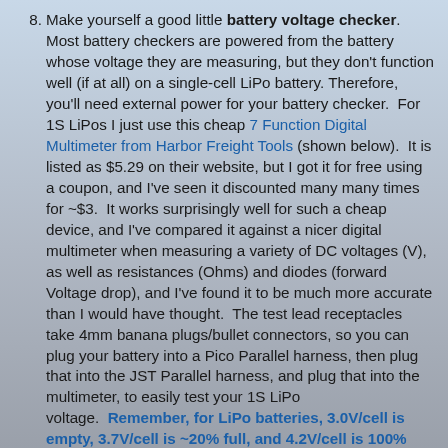Make yourself a good little battery voltage checker. Most battery checkers are powered from the battery whose voltage they are measuring, but they don't function well (if at all) on a single-cell LiPo battery. Therefore, you'll need external power for your battery checker. For 1S LiPos I just use this cheap 7 Function Digital Multimeter from Harbor Freight Tools (shown below). It is listed as $5.29 on their website, but I got it for free using a coupon, and I've seen it discounted many many times for ~$3. It works surprisingly well for such a cheap device, and I've compared it against a nicer digital multimeter when measuring a variety of DC voltages (V), as well as resistances (Ohms) and diodes (forward Voltage drop), and I've found it to be much more accurate than I would have thought. The test lead receptacles take 4mm banana plugs/bullet connectors, so you can plug your battery into a Pico Parallel harness, then plug that into the JST Parallel harness, and plug that into the multimeter, to easily test your 1S LiPo voltage. Remember, for LiPo batteries, 3.0V/cell is empty, 3.7V/cell is ~20% full, and 4.2V/cell is 100% full.